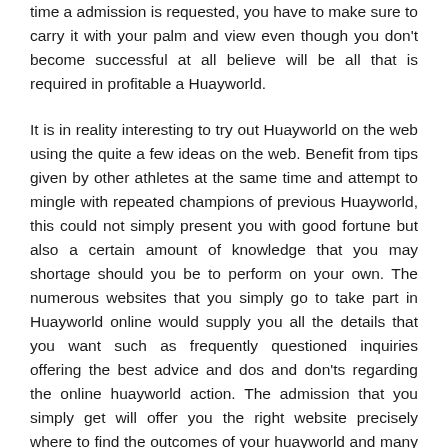time a admission is requested, you have to make sure to carry it with your palm and view even though you don't become successful at all believe will be all that is required in profitable a Huayworld.
It is in reality interesting to try out Huayworld on the web using the quite a few ideas on the web. Benefit from tips given by other athletes at the same time and attempt to mingle with repeated champions of previous Huayworld, this could not simply present you with good fortune but also a certain amount of knowledge that you may shortage should you be to perform on your own. The numerous websites that you simply go to take part in Huayworld online would supply you all the details that you want such as frequently questioned inquiries offering the best advice and dos and don'ts regarding the online huayworld action. The admission that you simply get will offer you the right website precisely where to find the outcomes of your huayworld and many more. Considering that huayworld is